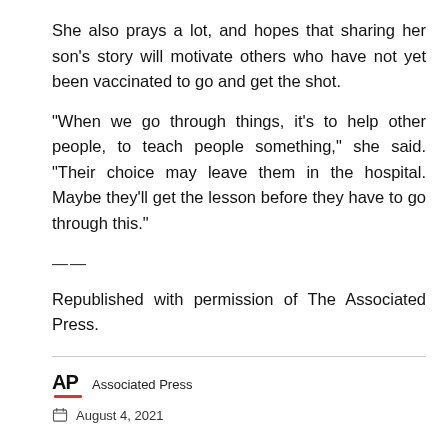She also prays a lot, and hopes that sharing her son's story will motivate others who have not yet been vaccinated to go and get the shot.
“When we go through things, it’s to help other people, to teach people something,” she said. “Their choice may leave them in the hospital. Maybe they’ll get the lesson before they have to go through this.”
——
Republished with permission of The Associated Press.
[Figure (logo): AP (Associated Press) logo with red underline, followed by 'Associated Press' text]
August 4, 2021